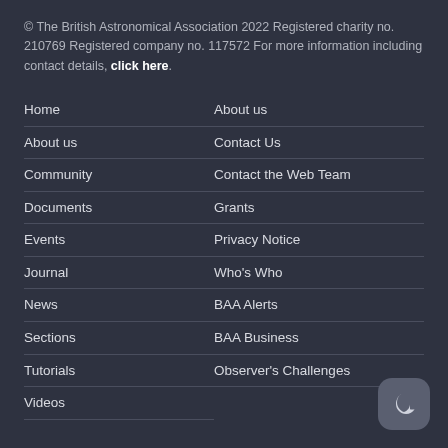© The British Astronomical Association 2022 Registered charity no. 210769 Registered company no. 117572 For more information including contact details, click here.
Home
About us
Community
Documents
Events
Journal
News
Sections
Tutorials
Videos
About us
Contact Us
Contact the Web Team
Grants
Privacy Notice
Who's Who
BAA Alerts
BAA Business
Observer's Challenges